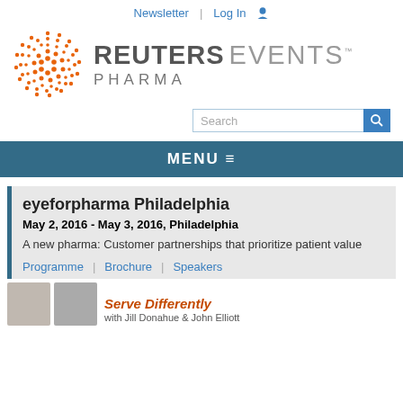Newsletter | Log In
[Figure (logo): Reuters Events Pharma logo with orange dotted circle icon and text REUTERS EVENTS PHARMA]
[Figure (other): Search input box with magnifying glass button]
MENU ≡
eyeforpharma Philadelphia
May 2, 2016 - May 3, 2016, Philadelphia
A new pharma: Customer partnerships that prioritize patient value
Programme | Brochure | Speakers
Serve Differently
with Jill Donahue & John Elliott